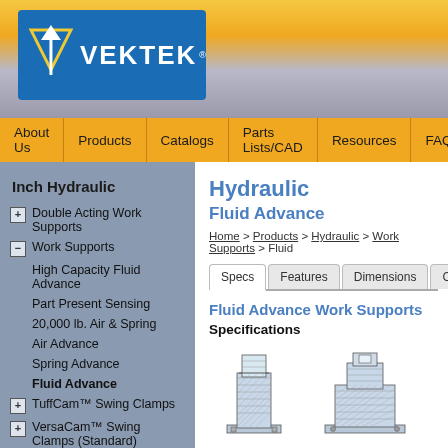[Figure (logo): Vektek company logo: blue rectangle with white V arrow logo and VEKTEK text]
About Us | Products | Catalogs | Parts Lists/CAD | Resources | FAQ/Help
Inch Hydraulic
+ Double Acting Work Supports
- Work Supports
High Capacity Fluid Advance
Part Present Sensing
20,000 lb. Air & Spring
Air Advance
Spring Advance
Fluid Advance
+ TuffCam™ Swing Clamps
+ VersaCam™ Swing Clamps (Standard)
+ Swing Clamp Arms
- Link Clamps
Hydraulic
Fluid Advance
Home > Products > Hydraulic > Work Supports > Fluid
Specs | Features | Dimensions | Cartridge | Cap
Fluid Advance Work Supports
Specifications
[Figure (engineering-diagram): Two technical engineering drawings of hydraulic fluid advance work support components]